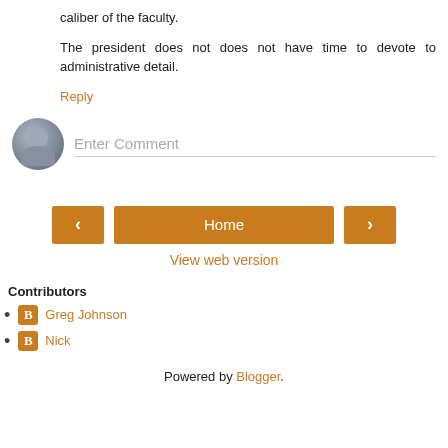caliber of the faculty.
The president does not does not have time to devote to administrative detail.
Reply
[Figure (illustration): Comment input area with a grey circular avatar icon on the left and a text input field labeled 'Enter Comment' on the right with a bottom border line.]
[Figure (infographic): Navigation buttons: left arrow button (orange), Home button (orange, wide), right arrow button (orange). Below is a 'View web version' link in orange.]
View web version
Contributors
Greg Johnson
Nick
Powered by Blogger.